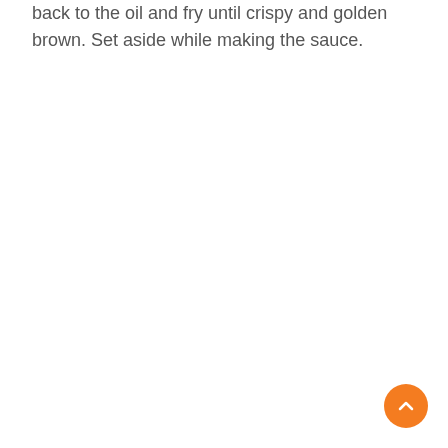back to the oil and fry until crispy and golden brown. Set aside while making the sauce.
[Figure (other): Orange circular scroll-to-top button with an upward-pointing chevron arrow, positioned in the bottom-right corner of the page.]